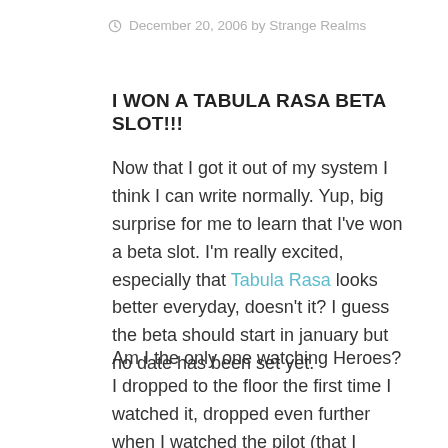December 20, 2006 by Strange Realms
I WON A TABULA RASA BETA SLOT!!!
Now that I got it out of my system I think I can write normally. Yup, big surprise for me to learn that I've won a beta slot. I'm really excited, especially that Tabula Rasa looks better everyday, doesn't it? I guess the beta should start in january but no date has been set yet.
Am I the only one watching Heroes? I dropped to the floor the first time I watched it, dropped even further when I watched the pilot (that I